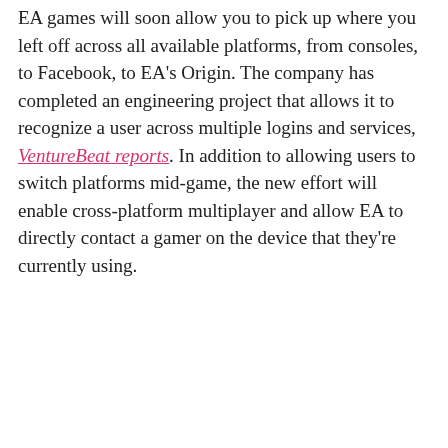EA games will soon allow you to pick up where you left off across all available platforms, from consoles, to Facebook, to EA's Origin. The company has completed an engineering project that allows it to recognize a user across multiple logins and services, VentureBeat reports. In addition to allowing users to switch platforms mid-game, the new effort will enable cross-platform multiplayer and allow EA to directly contact a gamer on the device that they're currently using.